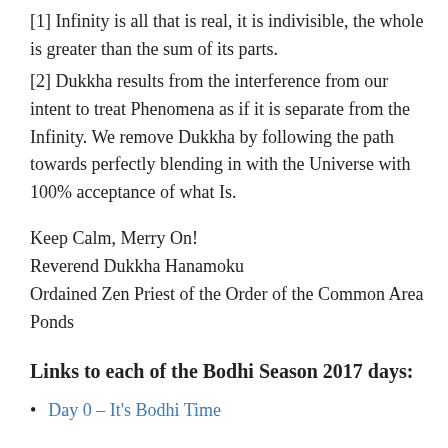[1] Infinity is all that is real, it is indivisible, the whole is greater than the sum of its parts.
[2] Dukkha results from the interference from our intent to treat Phenomena as if it is separate from the Infinity. We remove Dukkha by following the path towards perfectly blending in with the Universe with 100% acceptance of what Is.
Keep Calm, Merry On!
Reverend Dukkha Hanamoku
Ordained Zen Priest of the Order of the Common Area Ponds
Links to each of the Bodhi Season 2017 days:
Day 0 – It's Bodhi Time